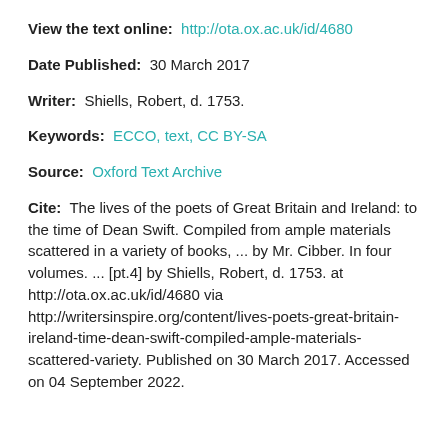View the text online: http://ota.ox.ac.uk/id/4680
Date Published: 30 March 2017
Writer: Shiells, Robert, d. 1753.
Keywords: ECCO, text, CC BY-SA
Source: Oxford Text Archive
Cite: The lives of the poets of Great Britain and Ireland: to the time of Dean Swift. Compiled from ample materials scattered in a variety of books, ... by Mr. Cibber. In four volumes. ... [pt.4] by Shiells, Robert, d. 1753. at http://ota.ox.ac.uk/id/4680 via http://writersinspire.org/content/lives-poets-great-britain-ireland-time-dean-swift-compiled-ample-materials-scattered-variety. Published on 30 March 2017. Accessed on 04 September 2022.